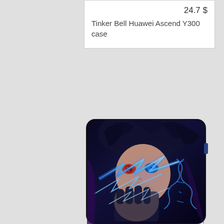24.7 $
Tinker Bell Huawei Ascend Y300 case
[Figure (photo): Huawei Ascend Y300 phone case with anime character (Sasuke with Rinnegan and Sharingan eyes, blue lightning effects) printed on the back, shown as a physical product image.]